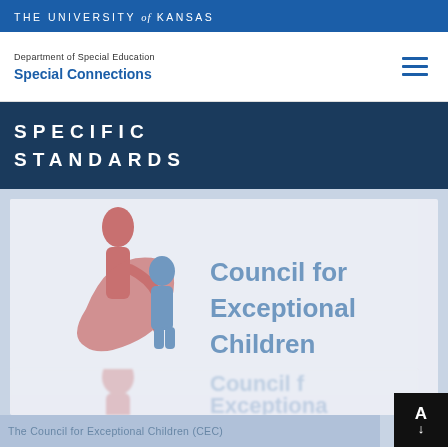THE UNIVERSITY of KANSAS
Department of Special Education
Special Connections
SPECIFIC STANDARDS
[Figure (logo): Council for Exceptional Children (CEC) logo featuring stylized figures of a taller person and a child with a swooping ribbon, in salmon/rose and steel blue colors, with text 'Council for Exceptional Children' in steel blue. A faded duplicate appears below.]